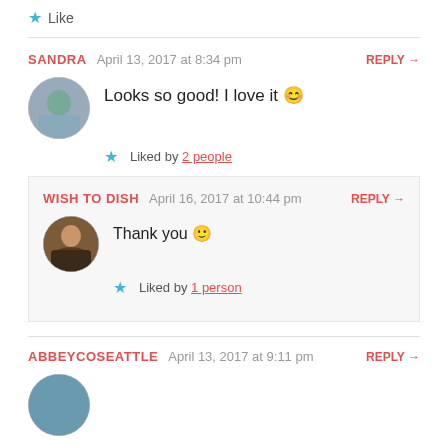★ Like
SANDRA  April 13, 2017 at 8:34 pm  REPLY →
Looks so good! I love it 😊
★ Liked by 2 people
WISH TO DISH  April 16, 2017 at 10:44 pm  REPLY →
Thank you 🙂
★ Liked by 1 person
ABBEYCOSEATTLE  April 13, 2017 at 9:11 pm  REPLY →